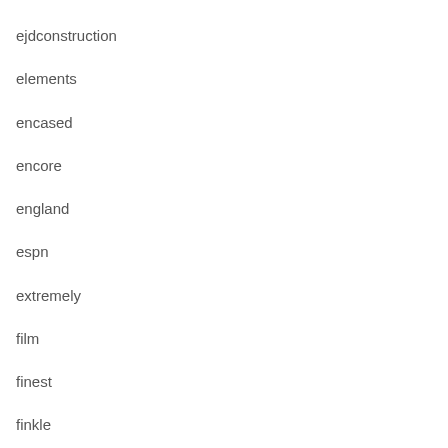ejdconstruction
elements
encased
encore
england
espn
extremely
film
finest
finkle
first
flawless
football